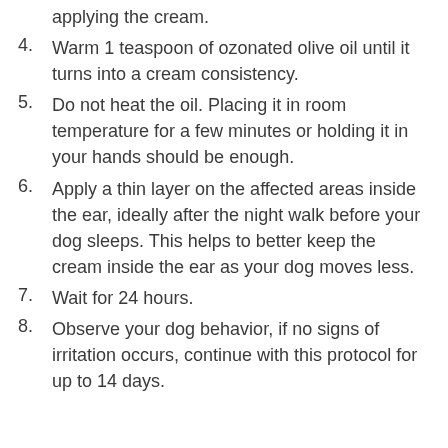applying the cream.
4. Warm 1 teaspoon of ozonated olive oil until it turns into a cream consistency.
5. Do not heat the oil. Placing it in room temperature for a few minutes or holding it in your hands should be enough.
6. Apply a thin layer on the affected areas inside the ear, ideally after the night walk before your dog sleeps. This helps to better keep the cream inside the ear as your dog moves less.
7. Wait for 24 hours.
8. Observe your dog behavior, if no signs of irritation occurs, continue with this protocol for up to 14 days.